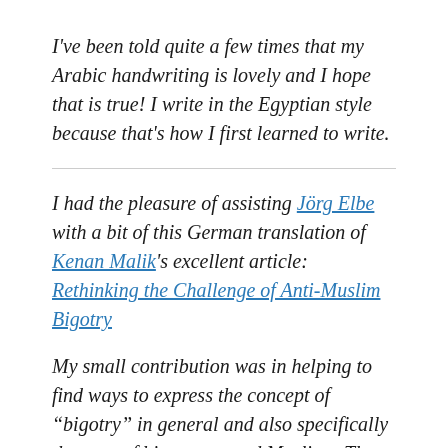I've been told quite a few times that my Arabic handwriting is lovely and I hope that is true! I write in the Egyptian style because that's how I first learned to write.
I had the pleasure of assisting Jörg Elbe with a bit of this German translation of Kenan Malik's excellent article: Rethinking the Challenge of Anti-Muslim Bigotry
My small contribution was in helping to find ways to express the concept of "bigotry" in general and also specifically the case of bigotry toward Muslims. The term in English is used to cover a wide range of meaning! It was an enjoyable and